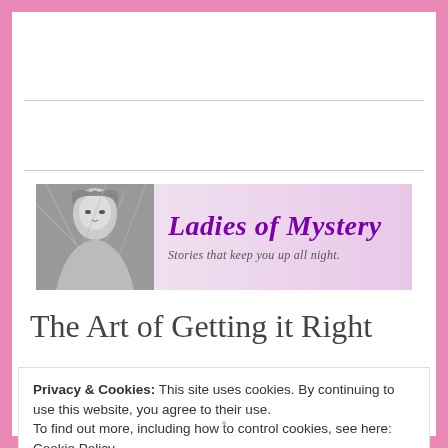Menu
[Figure (illustration): Ladies of Mystery website banner with a grayscale portrait of a woman and purple cursive text reading 'Ladies of Mystery' with subtitle 'Stories that keep you up all night.']
The Art of Getting it Right
Privacy & Cookies: This site uses cookies. By continuing to use this website, you agree to their use.
To find out more, including how to control cookies, see here: Cookie Policy
Close and accept